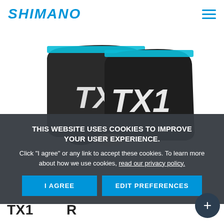SHIMANO
[Figure (photo): Two black foil pouches with cyan/blue seals labeled TX1 (Shimano fishing product), with a small black cap and a white/cream circular item in front.]
THIS WEBSITE USES COOKIES TO IMPROVE YOUR USER EXPERIENCE.
Click "I agree" or any link to accept these cookies. To learn more about how we use cookies, read our privacy policy.
I AGREE
EDIT PREFERENCES
TX1